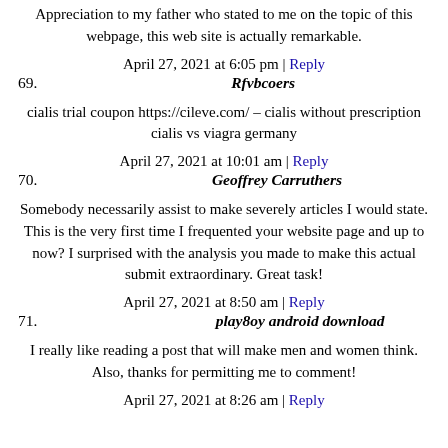Appreciation to my father who stated to me on the topic of this webpage, this web site is actually remarkable.
April 27, 2021 at 6:05 pm | Reply
69. Rfvbcoers
cialis trial coupon https://cileve.com/ – cialis without prescription cialis vs viagra germany
April 27, 2021 at 10:01 am | Reply
70. Geoffrey Carruthers
Somebody necessarily assist to make severely articles I would state. This is the very first time I frequented your website page and up to now? I surprised with the analysis you made to make this actual submit extraordinary. Great task!
April 27, 2021 at 8:50 am | Reply
71. play8oy android download
I really like reading a post that will make men and women think.
Also, thanks for permitting me to comment!
April 27, 2021 at 8:26 am | Reply